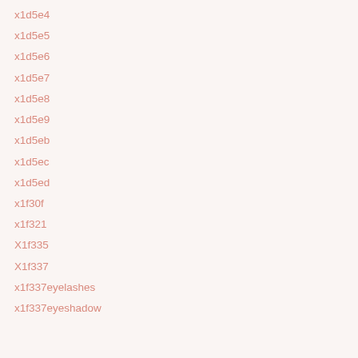x1d5e4
x1d5e5
x1d5e6
x1d5e7
x1d5e8
x1d5e9
x1d5eb
x1d5ec
x1d5ed
x1f30f
x1f321
X1f335
X1f337
x1f337eyelashes
x1f337eyeshadow